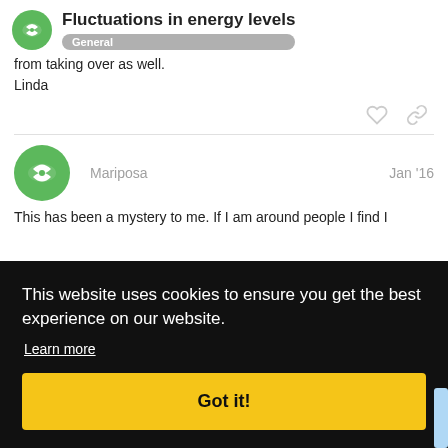Fluctuations in energy levels — General
from taking over as well.
Linda
Mariposa — Jan '16
This has been a mystery to me. If I am around people I find I
This website uses cookies to ensure you get the best experience on our website.
Learn more
Got it!
or, I simply "push through" which is true